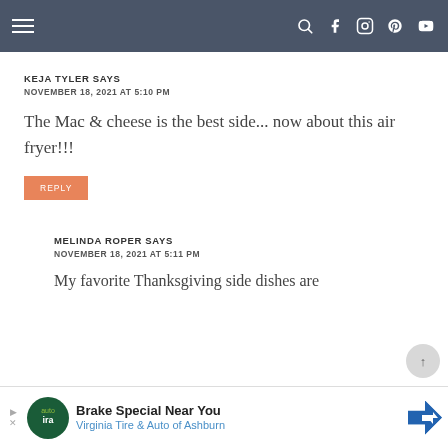Navigation bar with menu, search, facebook, instagram, pinterest, youtube icons
KEJA TYLER SAYS
NOVEMBER 18, 2021 AT 5:10 PM
The Mac & cheese is the best side... now about this air fryer!!!
REPLY
MELINDA ROPER SAYS
NOVEMBER 18, 2021 AT 5:11 PM
My favorite Thanksgiving side dishes are
[Figure (screenshot): Advertisement banner: Brake Special Near You - Virginia Tire & Auto of Ashburn]